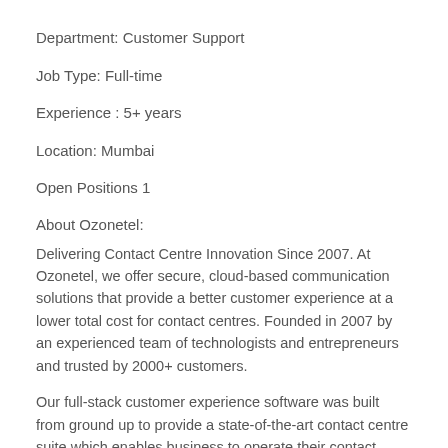Department: Customer Support
Job Type: Full-time
Experience : 5+ years
Location: Mumbai
Open Positions 1
About Ozonetel:
Delivering Contact Centre Innovation Since 2007. At Ozonetel, we offer secure, cloud-based communication solutions that provide a better customer experience at a lower total cost for contact centres. Founded in 2007 by an experienced team of technologists and entrepreneurs and trusted by 2000+ customers.
Our full-stack customer experience software was built from ground up to provide a state-of-the-art contact centre suite which enables business to operate their contact centres irrespective of